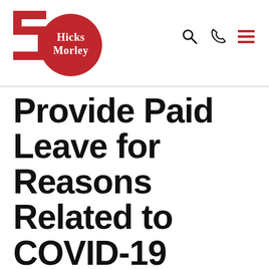[Figure (logo): Hicks Morley 50th anniversary logo — red '50' numeral with a red circle containing the text 'Hicks Morley' in white]
Provide Paid Leave for Reasons Related to COVID-19
May 6, 2021 · 14 min read